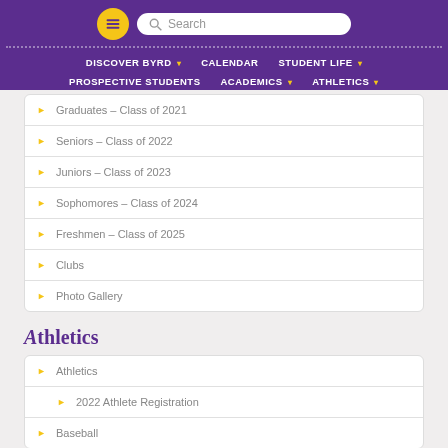Navigation header with hamburger menu, search bar, and nav links: DISCOVER BYRD, CALENDAR, STUDENT LIFE, PROSPECTIVE STUDENTS, ACADEMICS, ATHLETICS
Graduates – Class of 2021
Seniors – Class of 2022
Juniors – Class of 2023
Sophomores – Class of 2024
Freshmen – Class of 2025
Clubs
Photo Gallery
Athletics
Athletics
2022 Athlete Registration
Baseball